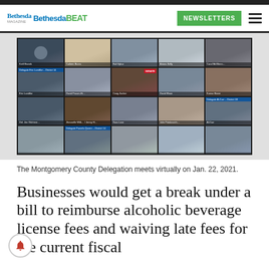Bethesda Bethesda BEAT | NEWSLETTERS
[Figure (screenshot): Screenshot of a Zoom video call showing the Montgomery County Delegation meeting virtually on Jan. 22, 2021. Multiple participants are visible in a grid layout with name tags displayed.]
The Montgomery County Delegation meets virtually on Jan. 22, 2021.
Businesses would get a break under a bill to reimburse alcoholic beverage license fees and waiving late fees for the current fiscal